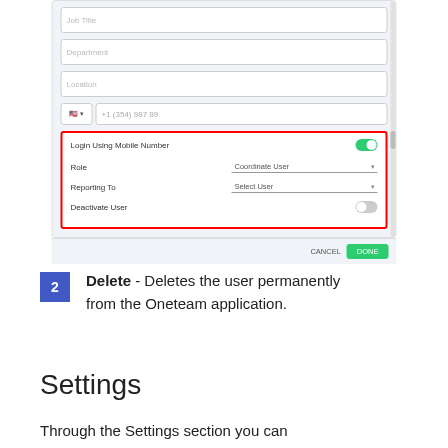[Figure (screenshot): A form dialog with fields for Job Title, Department, Location, and phone number. A red-bordered section shows 'Login Using Mobile Number' toggle (on), Role dropdown (Coordinate User), Reporting To dropdown (Select User), and Deactivate User toggle (off). CANCEL and OK buttons at the bottom.]
2 Delete - Deletes the user permanently from the Oneteam application.
Settings
Through the Settings section you can